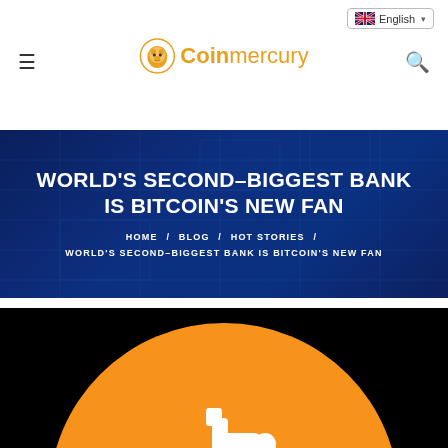English | Coinmercury
WORLD'S SECOND-BIGGEST BANK IS BITCOIN'S NEW FAN
HOME / BLOG / HOT STORIES / WORLD'S SECOND-BIGGEST BANK IS BITCOIN'S NEW FAN
[Figure (illustration): Bitcoin orange logo with white Bitcoin symbol on black background]